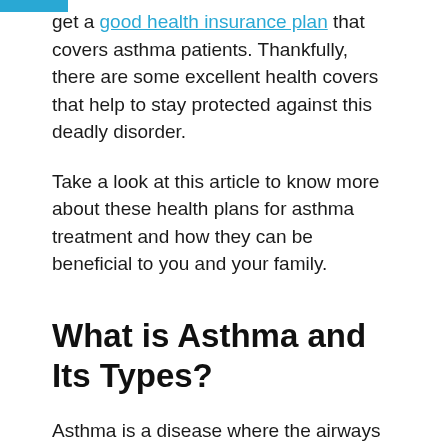get a good health insurance plan that covers asthma patients. Thankfully, there are some excellent health covers that help to stay protected against this deadly disorder.
Take a look at this article to know more about these health plans for asthma treatment and how they can be beneficial to you and your family.
What is Asthma and Its Types?
Asthma is a disease where the airways become swollen. This makes it very difficult for the person to breathe. As a result, the lungs do not receive enough oxygen and the bodily functions get impacted. The heart, brain and other organs are also affected as the blood flow is restricted due to low oxygen and the person becomes severely breathless at the same time. Asthma is considered to be a chronic ailment and